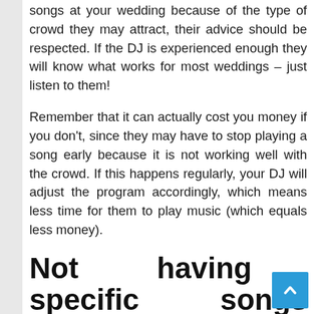songs at your wedding because of the type of crowd they may attract, their advice should be respected. If the DJ is experienced enough they will know what works for most weddings – just listen to them!
Remember that it can actually cost you money if you don't, since they may have to stop playing a song early because it is not working well with the crowd. If this happens regularly, your DJ will adjust the program accordingly, which means less time for them to play music (which equals less money).
Not having specific songs ready for certain moments at your